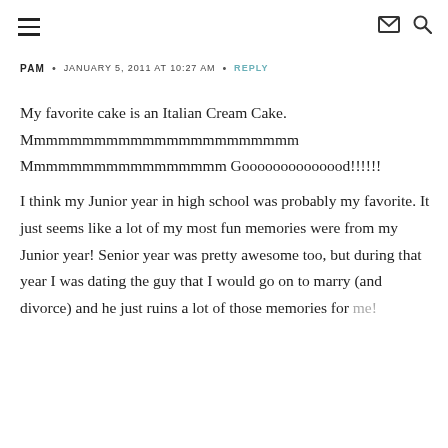≡  ✉  🔍
PAM • JANUARY 5, 2011 AT 10:27 AM • REPLY
My favorite cake is an Italian Cream Cake. Mmmmmmmmmmmmmmmmmmmmmmm Mmmmmmmmmmmmmmmmm Goooooooooooood!!!!!!

I think my Junior year in high school was probably my favorite. It just seems like a lot of my most fun memories were from my Junior year! Senior year was pretty awesome too, but during that year I was dating the guy that I would go on to marry (and divorce) and he just ruins a lot of those memories for me!